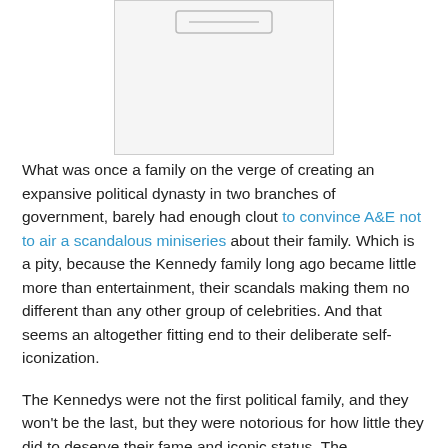[Figure (other): Partial image visible at top of page, showing a grey rectangular placeholder with a small graphic element at the top center]
What was once a family on the verge of creating an expansive political dynasty in two branches of government, barely had enough clout to convince A&E not to air a scandalous miniseries about their family. Which is a pity, because the Kennedy family long ago became little more than entertainment, their scandals making them no different than any other group of celebrities. And that seems an altogether fitting end to their deliberate self-iconization.
The Kennedys were not the first political family, and they won't be the last, but they were notorious for how little they did to deserve their fame and iconic status. The combination of democratic machine politics and liberal idealization turned JFK into an icon without context. Media manipulation had elevated him to the rank of the great presidents, Washington, Lincoln and the two Roosevelts, but unlike those men, JFK had not taken the country through a crisis. He had hardly done very much beyond stamping his name on a